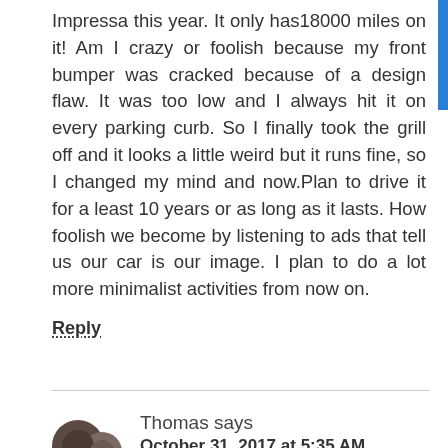Impressa this year. It only has18000 miles on it! Am I crazy or foolish because my front bumper was cracked because of a design flaw. It was too low and I always hit it on every parking curb. So I finally took the grill off and it looks a little weird but it runs fine, so I changed my mind and now.Plan to drive it for a least 10 years or as long as it lasts. How foolish we become by listening to ads that tell us our car is our image. I plan to do a lot more minimalist activities from now on.
Reply
Thomas says
October 31, 2017 at 5:35 AM